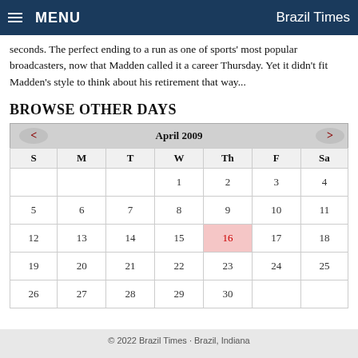MENU | Brazil Times
seconds. The perfect ending to a run as one of sports' most popular broadcasters, now that Madden called it a career Thursday. Yet it didn't fit Madden's style to think about his retirement that way...
BROWSE OTHER DAYS
| S | M | T | W | Th | F | Sa |
| --- | --- | --- | --- | --- | --- | --- |
|  |  |  | 1 | 2 | 3 | 4 |
| 5 | 6 | 7 | 8 | 9 | 10 | 11 |
| 12 | 13 | 14 | 15 | 16 | 17 | 18 |
| 19 | 20 | 21 | 22 | 23 | 24 | 25 |
| 26 | 27 | 28 | 29 | 30 |  |  |
© 2022 Brazil Times · Brazil, Indiana